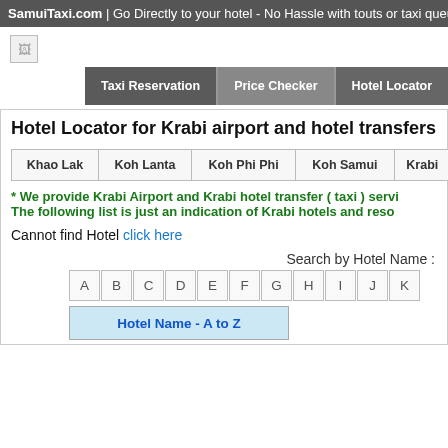SamuiTaxi.com | Go Directly to your hotel - No Hassle with touts or taxi queues !
[Figure (logo): Broken image placeholder / logo area]
Taxi Reservation | Price Checker | Hotel Locator | Car Type
Hotel Locator for Krabi airport and hotel transfers ( shutt...
| Khao Lak | Koh Lanta | Koh Phi Phi | Koh Samui | Krabi |
| --- | --- | --- | --- | --- |
* We provide Krabi Airport and Krabi hotel transfer ( taxi ) servi...
The following list is just an indication of Krabi hotels and reso...
Cannot find Hotel click here
Search by Hotel Name :
A B C D E F G H I J K
| Hotel Name - A to Z |
| --- |